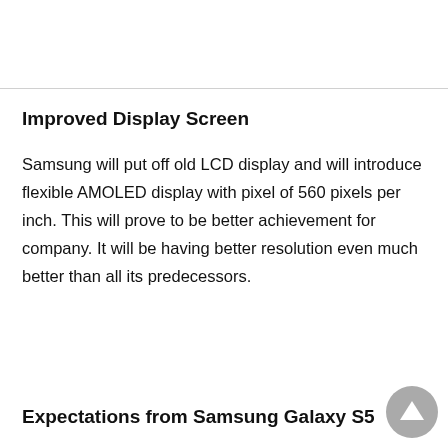Improved Display Screen
Samsung will put off old LCD display and will introduce flexible AMOLED display with pixel of 560 pixels per inch. This will prove to be better achievement for company. It will be having better resolution even much better than all its predecessors.
Expectations from Samsung Galaxy S5